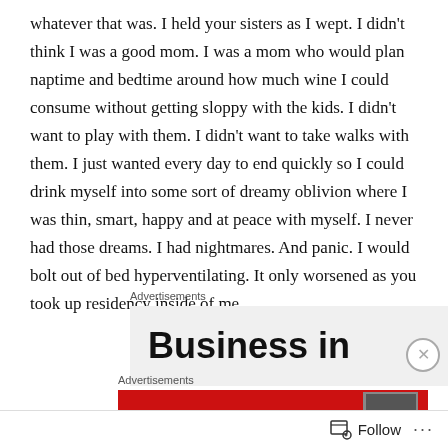whatever that was. I held your sisters as I wept. I didn't think I was a good mom. I was a mom who would plan naptime and bedtime around how much wine I could consume without getting sloppy with the kids. I didn't want to play with them. I didn't want to take walks with them. I just wanted every day to end quickly so I could drink myself into some sort of dreamy oblivion where I was thin, smart, happy and at peace with myself. I never had those dreams. I had nightmares. And panic. I would bolt out of bed hyperventilating. It only worsened as you took up residency inside of me.
[Figure (other): Advertisement banner with bold text 'Business in' on a light grey background]
[Figure (other): Advertisement banner with red background showing 'An app by listeners' text and a partial image]